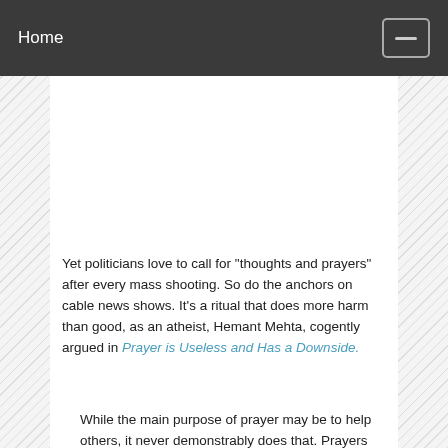Home
[Figure (other): Advertisement or image placeholder area (white rectangle)]
Yet politicians love to call for "thoughts and prayers" after every mass shooting. So do the anchors on cable news shows. It's a ritual that does more harm than good, as an atheist, Hemant Mehta, cogently argued in Prayer is Useless and Has a Downside.
While the main purpose of prayer may be to help others, it never demonstrably does that. Prayers benefit only those believers who say or hear them.